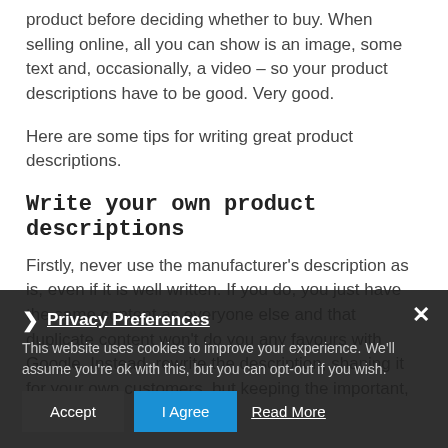product before deciding whether to buy. When selling online, all you can show is an image, some text and, occasionally, a video – so your product descriptions have to be good. Very good.
Here are some tips for writing great product descriptions.
Write your own product descriptions
Firstly, never use the manufacturer's description as is, even if it is well written. If you do, you just have the same content as everyone else and that duplicate content won't do you any favours with Google. Instead, rewrite the description, shaping it for your own customers, but keeping the important, rephrased
This website uses cookies to improve your experience. We'll assume you're ok with this, but you can opt-out if you wish.
Privacy Preferences
Accept
I Agree
Read More